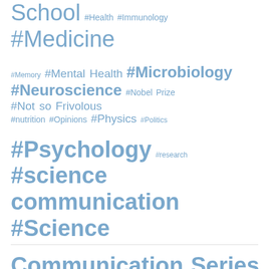School #Health #Immunology #Medicine #Memory #Mental Health #Microbiology #Neuroscience #Nobel Prize #Not so Frivolous #nutrition #Opinions #Physics #Politics #Psychology #research #science communication #Science Communication Series #Science News #Science Policy #Scientific Communication #Scientists #space #UNC-CH Research #Unsung Heroes #Weird Science #Women in Science